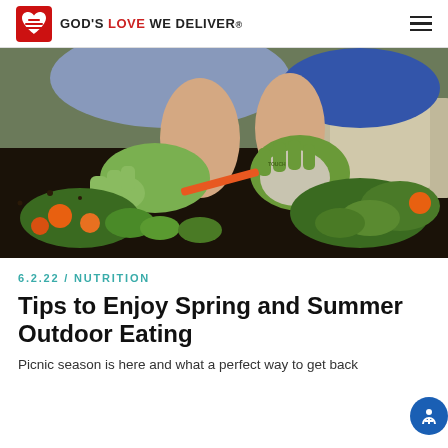GOD'S LOVE WE DELIVER.
[Figure (photo): Person wearing green gardening gloves trimming orange and green nasturtium flowers in a garden bed, kneeling on dark soil]
6.2.22 / NUTRITION
Tips to Enjoy Spring and Summer Outdoor Eating
Picnic season is here and what a perfect way to get back